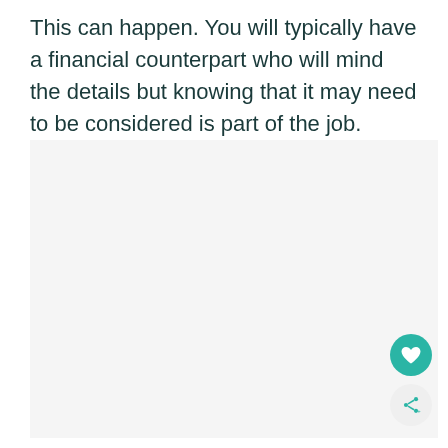This can happen. You will typically have a financial counterpart who will mind the details but knowing that it may need to be considered is part of the job.
[Figure (other): A large light gray rectangular placeholder image area, with a teal heart favorite button and a light gray share button overlaid at the bottom-right corner.]